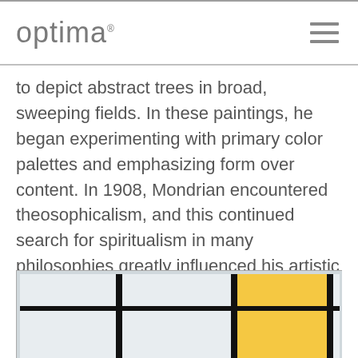optima
to depict abstract trees in broad, sweeping fields. In these paintings, he began experimenting with primary color palettes and emphasizing form over content. In 1908, Mondrian encountered theosophicalism, and this continued search for spiritualism in many philosophies greatly influenced his artistic thinking moving forward.
[Figure (photo): Partial view of a Mondrian-style abstract painting with black vertical bars, white/light grey rectangular sections, and a yellow rectangle on the right portion of the canvas.]